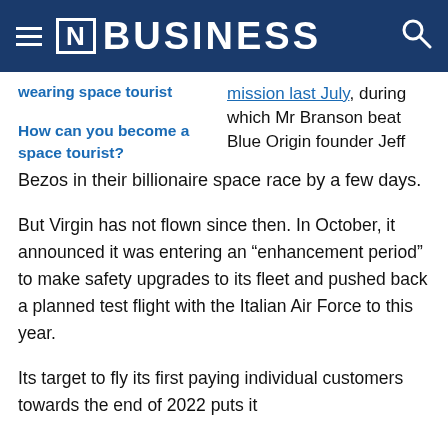[N] BUSINESS
wearing space tourist
How can you become a space tourist?
mission last July, during which Mr Branson beat Blue Origin founder Jeff Bezos in their billionaire space race by a few days.
But Virgin has not flown since then. In October, it announced it was entering an “enhancement period” to make safety upgrades to its fleet and pushed back a planned test flight with the Italian Air Force to this year.
Its target to fly its first paying individual customers towards the end of 2022 puts it